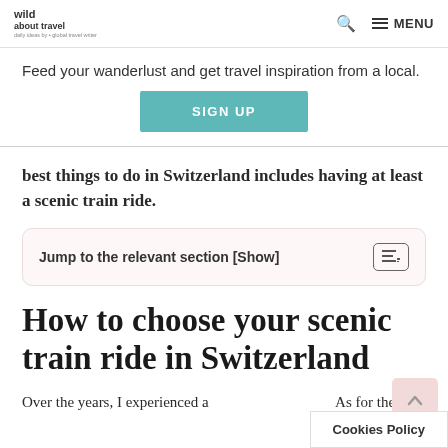wild about travel — MENU
Feed your wanderlust and get travel inspiration from a local.
SIGN UP
best things to do in Switzerland includes having at least a scenic train ride.
Jump to the relevant section [Show]
How to choose your scenic train ride in Switzerland
Over the years, I experienced a... As for the
Cookies Policy